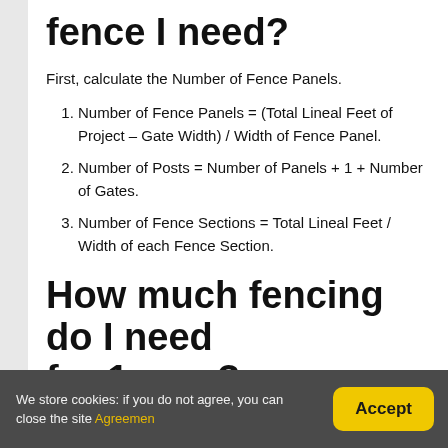fence I need?
First, calculate the Number of Fence Panels.
Number of Fence Panels = (Total Lineal Feet of Project – Gate Width) / Width of Fence Panel.
Number of Posts = Number of Panels + 1 + Number of Gates.
Number of Fence Sections = Total Lineal Feet / Width of each Fence Section.
How much fencing do I need for 1 acre?
We store cookies: if you do not agree, you can close the site Agreemen